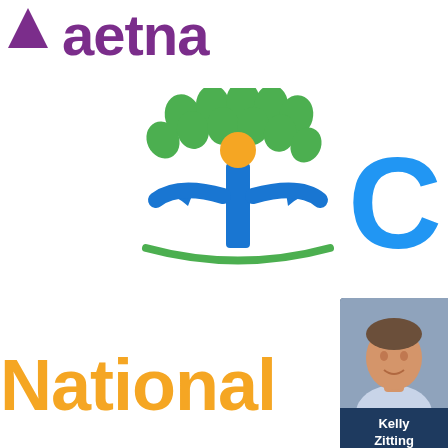[Figure (logo): Aetna logo — purple triangle and stylized text 'aetna' in purple, partially cropped at top of page]
[Figure (logo): Cigna logo — green tree/person icon with orange person center, blue arc at bottom, blue 'Cigna' text, partially cropped at right]
[Figure (logo): National General Insurance logo — 'National' in orange bold, 'General' in blue bold, 'Insurance' in gray below]
[Figure (photo): Agent card for Kelly Zitting with headshot photo, name, and action links: Contact, Quote, Meet on dark navy background]